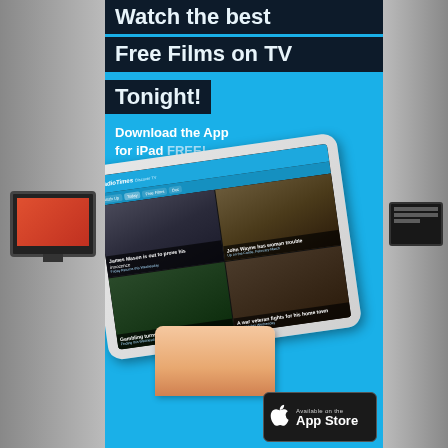[Figure (illustration): Advertisement for RadioTimes iPad app. Blue background with dark headline bars reading 'Watch the best Free Films on TV Tonight!', subheading 'Download the App for iPad FREE!', large iPad showing a film guide app with movie thumbnails, a hand holding the iPad, and an App Store badge. Side panels show blurred TV/monitor imagery.]